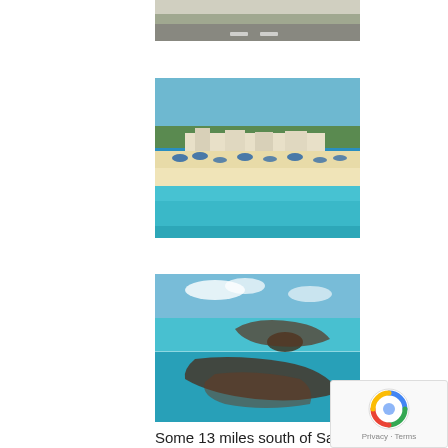[Figure (photo): Partial view of a road with trees/bushes, cropped at top of page]
[Figure (photo): Aerial view of a beach resort with turquoise water, sandy beach with umbrellas, and buildings]
[Figure (photo): Split underwater/above water photo of a person snorkeling in clear turquoise water with blue sky above]
Some 13 miles south of Salt